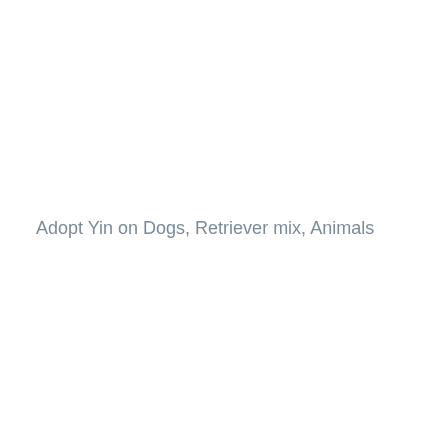Adopt Yin on Dogs, Retriever mix, Animals